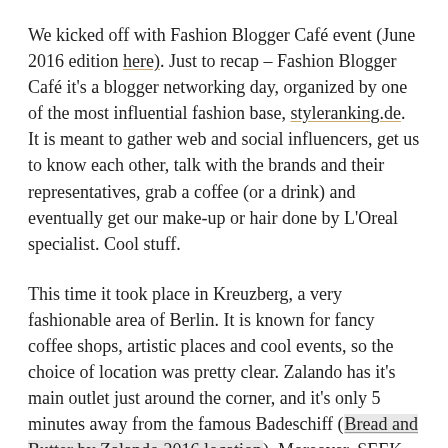We kicked off with Fashion Blogger Café event (June 2016 edition here). Just to recap – Fashion Blogger Café it's a blogger networking day, organized by one of the most influential fashion base, styleranking.de. It is meant to gather web and social influencers, get us to know each other, talk with the brands and their representatives, grab a coffee (or a drink) and eventually get our make-up or hair done by L'Oreal specialist. Cool stuff.
This time it took place in Kreuzberg, a very fashionable area of Berlin. It is known for fancy coffee shops, artistic places and cool events, so the choice of location was pretty clear. Zalando has it's main outlet just around the corner, and it's only 5 minutes away from the famous Badeschiff (Bread and Butter by Zalando 2016 location). Moreover, SEEK (trade shows) showcase in the same district (I just realized I could have gone there